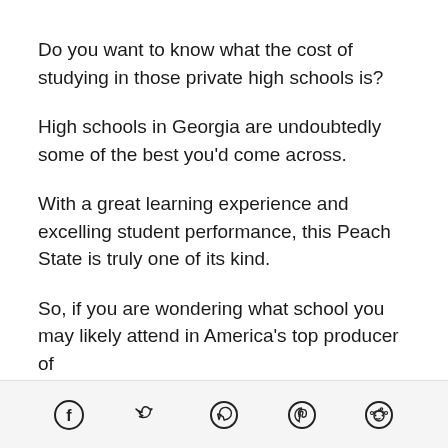Do you want to know what the cost of studying in those private high schools is?
High schools in Georgia are undoubtedly some of the best you'd come across.
With a great learning experience and excelling student performance, this Peach State is truly one of its kind.
So, if you are wondering what school you may likely attend in America's top producer of
Social share icons: Facebook, Twitter, WhatsApp, Pinterest, Reddit